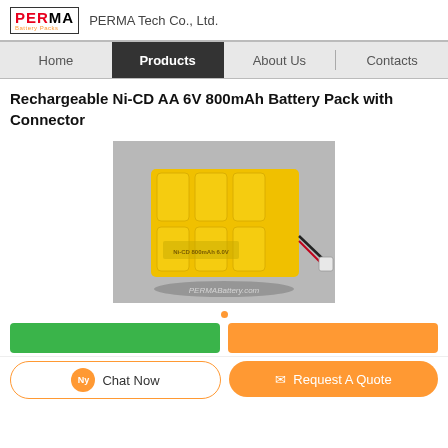PERMA Tech Co., Ltd.
Products
Rechargeable Ni-CD AA 6V 800mAh Battery Pack with Connector
[Figure (photo): Yellow rechargeable Ni-CD AA 6V 800mAh battery pack with red/black wired connector and white JST connector end, photographed on grey background. Watermark reads PERMABattery.com]
Chat Now
Request A Quote